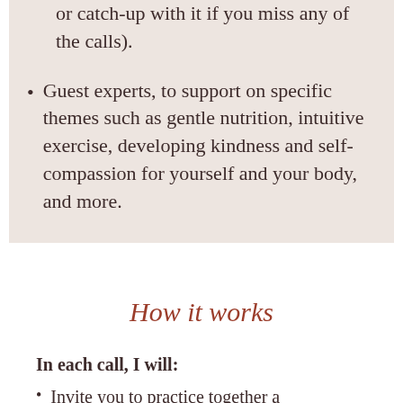or catch-up with it if you miss any of the calls).
Guest experts, to support on specific themes such as gentle nutrition, intuitive exercise, developing kindness and self-compassion for yourself and your body, and more.
How it works
In each call, I will:
Invite you to practice together a